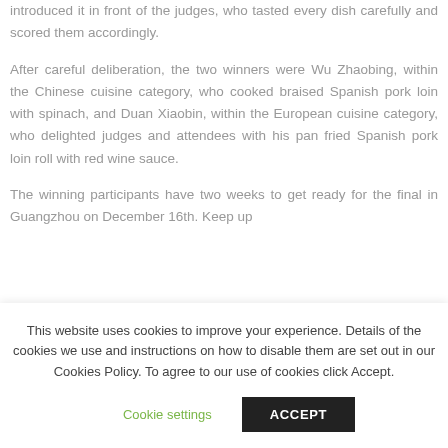introduced it in front of the judges, who tasted every dish carefully and scored them accordingly.
After careful deliberation, the two winners were Wu Zhaobing, within the Chinese cuisine category, who cooked braised Spanish pork loin with spinach, and Duan Xiaobin, within the European cuisine category, who delighted judges and attendees with his pan fried Spanish pork loin roll with red wine sauce.
The winning participants have two weeks to get ready for the final in Guangzhou on December 16th. Keep up
This website uses cookies to improve your experience. Details of the cookies we use and instructions on how to disable them are set out in our Cookies Policy. To agree to our use of cookies click Accept.
Cookie settings
ACCEPT